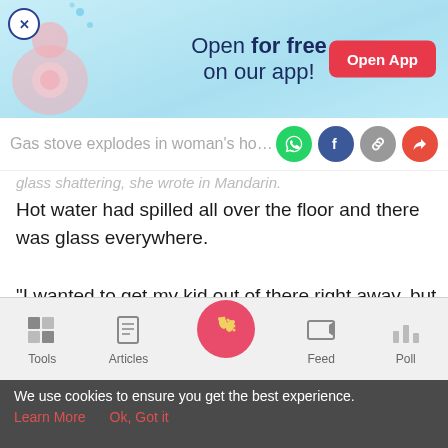[Figure (screenshot): App advertisement banner with pregnancy illustration, 'Open for free on our app!' text and red 'Open App' button]
Gas stove explodes in woman's home
glass shattering, she wrote in Mandarin.
Hot water had spilled all over the floor and there was glass everywhere.
“I wanted to get my kid out of there right away, but it was too late.” Her son had already slipped and fell into the hot water, causing his second-degree burns.
She rushed the boy straight to the hospital where doctors
[Figure (screenshot): Mobile app bottom navigation bar with Tools, Articles, home button, Feed, and Poll icons]
We use cookies to ensure you get the best experience.
Learn More    Ok, Got it